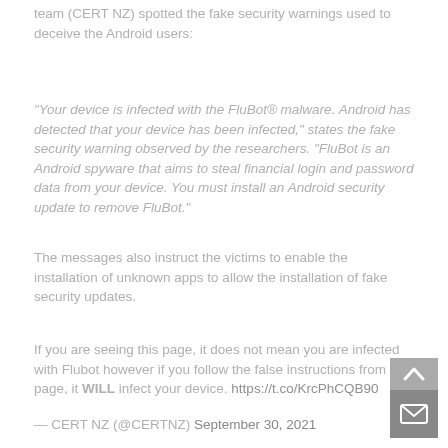team (CERT NZ) spotted the fake security warnings used to deceive the Android users:
"Your device is infected with the FluBot® malware. Android has detected that your device has been infected," states the fake security warning observed by the researchers. "FluBot is an Android spyware that aims to steal financial login and password data from your device. You must install an Android security update to remove FluBot."
The messages also instruct the victims to enable the installation of unknown apps to allow the installation of fake security updates.
If you are seeing this page, it does not mean you are infected with Flubot however if you follow the false instructions from this page, it WILL infect your device. https://t.co/KrcPhCQB90
— CERT NZ (@CERTNZ) September 30, 2021